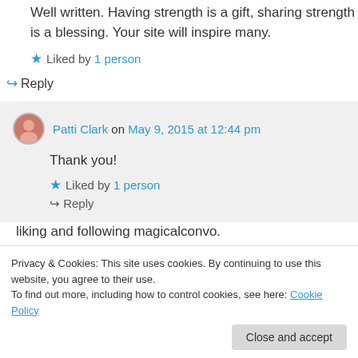Well written. Having strength is a gift, sharing strength is a blessing. Your site will inspire many.
★ Liked by 1 person
↪ Reply
Patti Clark on May 9, 2015 at 12:44 pm
Thank you!
★ Liked by 1 person
Privacy & Cookies: This site uses cookies. By continuing to use this website, you agree to their use. To find out more, including how to control cookies, see here: Cookie Policy
Close and accept
liking and following magicalconvo.